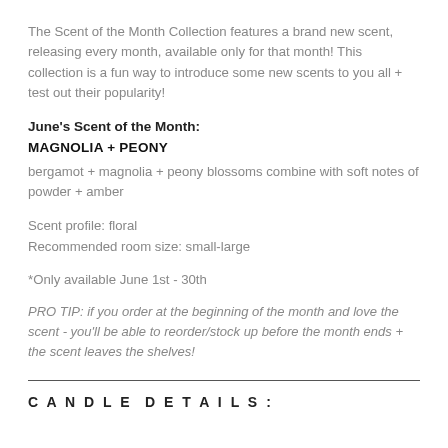The Scent of the Month Collection features a brand new scent, releasing every month, available only for that month! This collection is a fun way to introduce some new scents to you all + test out their popularity!
June's Scent of the Month:
MAGNOLIA + PEONY
bergamot + magnolia + peony blossoms combine with soft notes of powder + amber
Scent profile: floral
Recommended room size: small-large
*Only available June 1st - 30th
PRO TIP: if you order at the beginning of the month and love the scent - you'll be able to reorder/stock up before the month ends + the scent leaves the shelves!
CANDLE DETAILS: